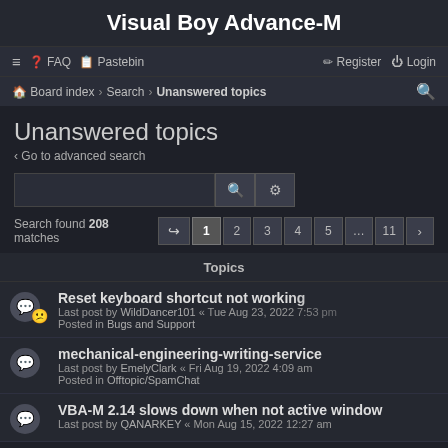Visual Boy Advance-M
≡ ❓ FAQ 📋 Pastebin   ✏ Register ⏻ Login
🏠 Board index › Search › Unanswered topics 🔍
Unanswered topics
‹ Go to advanced search
Search found 208 matches  ↪ 1 2 3 4 5 … 11 ›
Topics
Reset keyboard shortcut not working
Last post by WildDancer101 « Tue Aug 23, 2022 7:53 pm
Posted in Bugs and Support
mechanical-engineering-writing-service
Last post by EmelyClark « Fri Aug 19, 2022 4:09 am
Posted in Offtopic/SpamChat
VBA-M 2.14 slows down when not active window
Last post by QANARKEY « Mon Aug 15, 2022 12:27 am